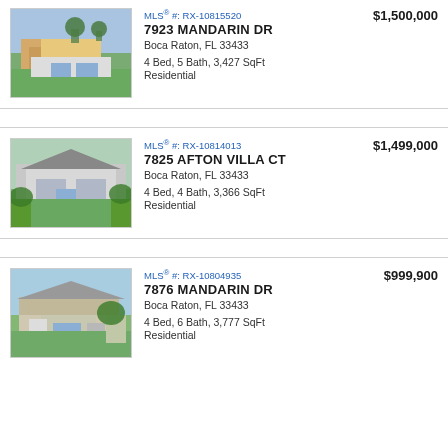[Figure (photo): Aerial/street view photo of house at 7923 Mandarin Dr, Boca Raton]
MLS® #: RX-10815520
7923 MANDARIN DR
Boca Raton, FL 33433
4 Bed, 5 Bath, 3,427 SqFt
Residential
$1,500,000
[Figure (photo): Aerial view photo of house at 7825 Afton Villa Ct, Boca Raton]
MLS® #: RX-10814013
7825 AFTON VILLA CT
Boca Raton, FL 33433
4 Bed, 4 Bath, 3,366 SqFt
Residential
$1,499,000
[Figure (photo): Street view photo of house at 7876 Mandarin Dr, Boca Raton]
MLS® #: RX-10804935
7876 MANDARIN DR
Boca Raton, FL 33433
4 Bed, 6 Bath, 3,777 SqFt
Residential
$999,900